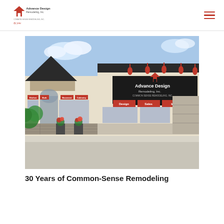Advance Design Remodeling, Inc. — Common Sense Remodeling (logo and navigation)
[Figure (photo): Exterior photo of the Advance Design Remodeling Inc. showroom building. A commercial building with cream/tan stucco siding, dark gabled roof, red awning with the company logo, red wall signs reading Design, Sales, Installation, Kitchen, Bath, Basement, Cabinetry, and decorative red light fixtures along the facade.]
30 Years of Common-Sense Remodeling